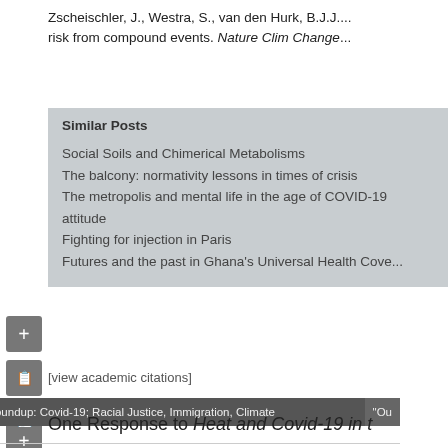Zscheischler, J., Westra, S., van den Hurk, B.J.J.... risk from compound events. Nature Clim Change...
Similar Posts
Social Soils and Chimerical Metabolisms
The balcony: normativity lessons in times of crisis
The metropolis and mental life in the age of COVID-19 attitude
Fighting for injection in Paris
Futures and the past in Ghana's Universal Health Cove...
[view academic citations]
Web Roundup: Covid-19; Racial Justice, Immigration, Climate
One Response to Heat and Covid-19 in t...